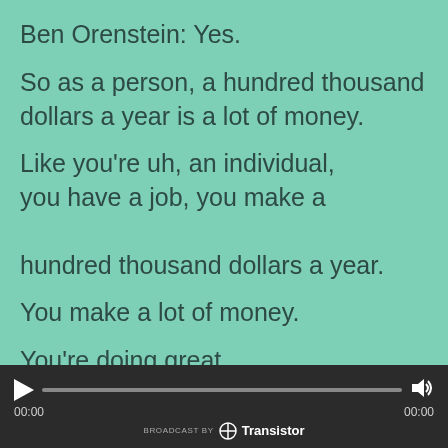Ben Orenstein: Yes.
So as a person, a hundred thousand dollars a year is a lot of money.
Like you're uh, an individual, you have a job, you make a hundred thousand dollars a year.
You make a lot of money.
You're doing great.
If I was like, Hey, you need
[Figure (screenshot): Audio player bar with play button, progress bar, volume icon, timestamps 00:00 on both sides, and 'BROADCAST BY Transistor' branding at the bottom.]